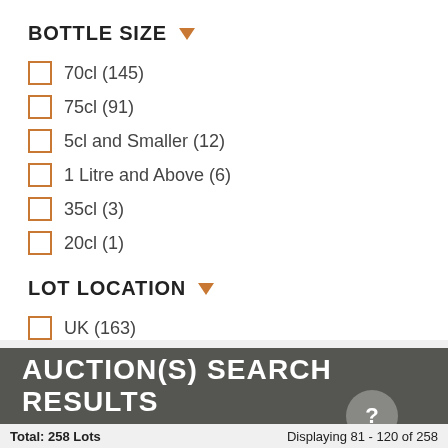BOTTLE SIZE
70cl (145)
75cl (91)
5cl and Smaller (12)
1 Litre and Above (6)
35cl (3)
20cl (1)
LOT LOCATION
UK (163)
EU (95)
AUCTION(S) SEARCH RESULTS
Total: 258 Lots    Displaying 81 - 120 of 258